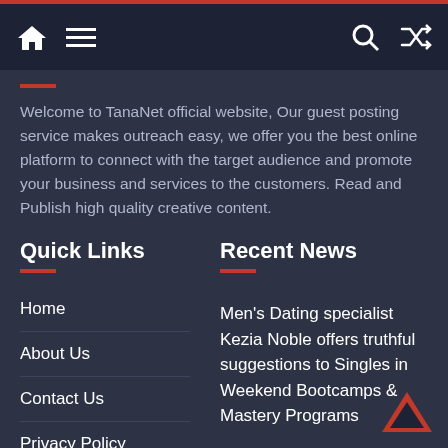TanaNet website navigation bar with home, menu, search, and shuffle icons
Welcome to TanaNet official website, Our guest posting service makes outreach easy, we offer you the best online platform to connect with the target audience and promote your business and services to the customers. Read and Publish high quality creative content.
Quick Links
Home
About Us
Contact Us
Privacy Policy
Write For Us
Recent News
Men's Dating specialist Kezia Noble offers truthful suggestions to Singles in Weekend Bootcamps & Mastery Programs